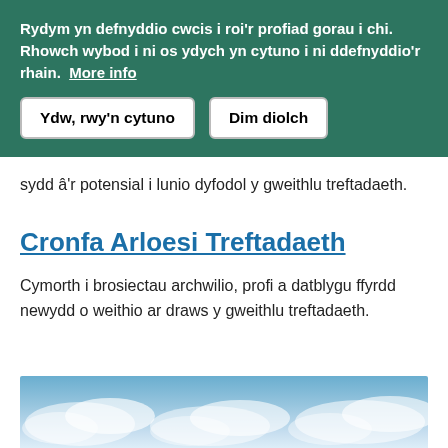Rydym yn defnyddio cwcis i roi'r profiad gorau i chi. Rhowch wybod i ni os ydych yn cytuno i ni ddefnyddio'r rhain. More info
Ydw, rwy'n cytuno
Dim diolch
sydd â'r potensial i lunio dyfodol y gweithlu treftadaeth.
Cronfa Arloesi Treftadaeth
Cymorth i brosiectau archwilio, profi a datblygu ffyrdd newydd o weithio ar draws y gweithlu treftadaeth.
[Figure (photo): Blue sky with clouds, partial view at bottom of page]